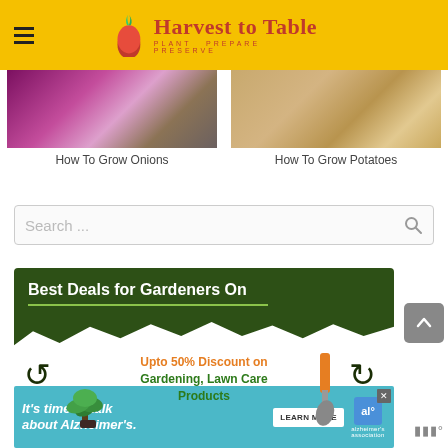Harvest to Table — PLANT PREPARE PRESERVE
[Figure (photo): Photo of red/purple onions]
How To Grow Onions
[Figure (photo): Photo of potatoes]
How To Grow Potatoes
Search ...
[Figure (infographic): Green banner ad: Best Deals for Gardeners On — Upto 50% Discount on Gardening, Lawn Care Products]
[Figure (infographic): Bottom banner ad: It's time to talk about Alzheimer's. LEARN MORE — Alzheimer's Association]